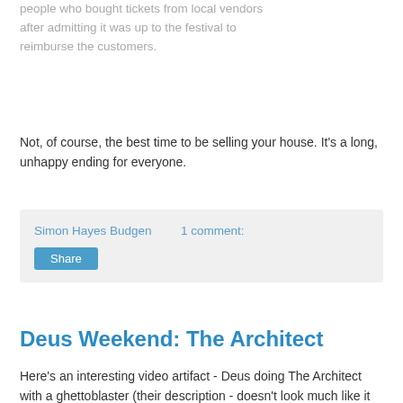people who bought tickets from local vendors after admitting it was up to the festival to reimburse the customers.
Not, of course, the best time to be selling your house. It's a long, unhappy ending for everyone.
Simon Hayes Budgen    1 comment:
Share
Deus Weekend: The Architect
Here's an interesting video artifact - Deus doing The Architect with a ghettoblaster (their description - doesn't look much like it could blast all that much of a ghetto from here) in Rotterdam: